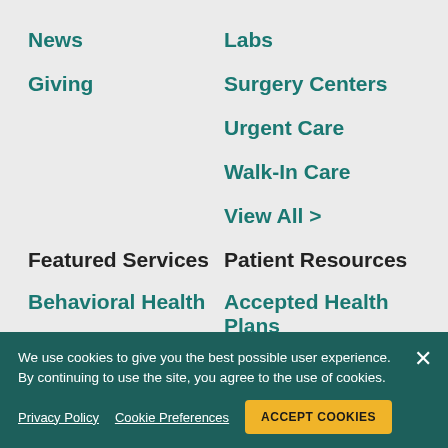News
Labs
Giving
Surgery Centers
Urgent Care
Walk-In Care
View All >
Featured Services
Patient Resources
Behavioral Health
Accepted Health Plans
Cancer Services
Classes and Events
We use cookies to give you the best possible user experience. By continuing to use the site, you agree to the use of cookies.
Privacy Policy   Cookie Preferences   ACCEPT COOKIES